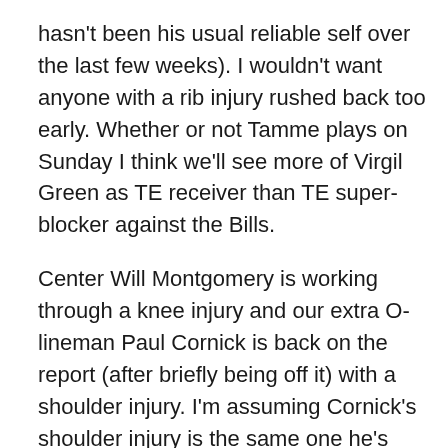hasn't been his usual reliable self over the last few weeks). I wouldn't want anyone with a rib injury rushed back too early. Whether or not Tamme plays on Sunday I think we'll see more of Virgil Green as TE receiver than TE super-blocker against the Bills.
Center Will Montgomery is working through a knee injury and our extra O-lineman Paul Cornick is back on the report (after briefly being off it) with a shoulder injury. I'm assuming Cornick's shoulder injury is the same one he's been dealing with for the last few weeks. Both O-linemen were full participants by the end of the week and I'm sure will be out there on Sunday.
It appears we'll have a bit longer to wait for Cody Latimer. Latimer entered the NFL concussion protocol